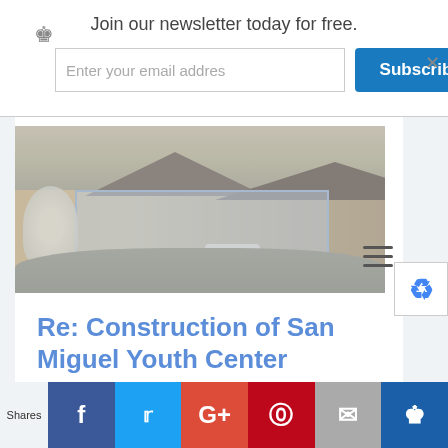Join our newsletter today for free. Enter your email addres | Subscribe Now
[Figure (photo): Architectural rendering of San Miguel Youth Center building exterior, showing a modern building with peaked roofs, glass facade, trees, and cars in a parking area. Image appears faded/grayed out.]
Re: Construction of San Miguel Youth Center
Shares | f | t | G+ | P | mail | crown